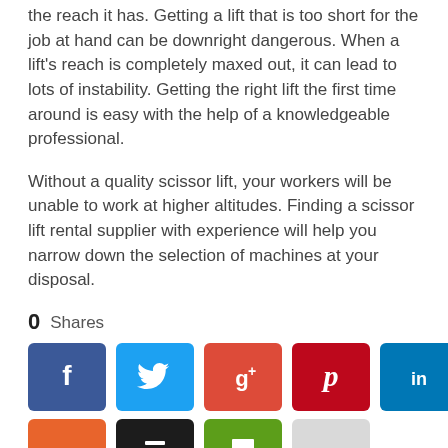the reach it has. Getting a lift that is too short for the job at hand can be downright dangerous. When a lift's reach is completely maxed out, it can lead to lots of instability. Getting the right lift the first time around is easy with the help of a knowledgeable professional.
Without a quality scissor lift, your workers will be unable to work at higher altitudes. Finding a scissor lift rental supplier with experience will help you narrow down the selection of machines at your disposal.
0 Shares
[Figure (infographic): Social share buttons: Facebook, Twitter, Google+, Pinterest, LinkedIn, StumbleUpon, Buffer, Print, More]